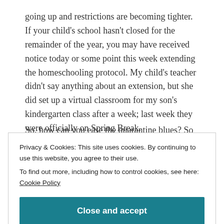going up and restrictions are becoming tighter. If your child's school hasn't closed for the remainder of the year, you may have received notice today or some point this week extending the homeschooling protocol. My child's teacher didn't say anything about an extension, but she did set up a virtual classroom for my son's kindergarten class after a week; last week they were officially on Spring Break.
So, how can you ease the quarantine blues? So many
Privacy & Cookies: This site uses cookies. By continuing to use this website, you agree to their use.
To find out more, including how to control cookies, see here: Cookie Policy
Close and accept
yourself to meditation and spa time or a good old